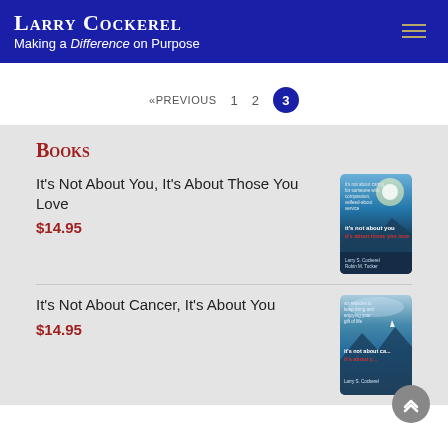Larry Cockerel — Making a Difference on Purpose
«PREVIOUS  1  2  3
Books
It's Not About You, It's About Those You Love
$14.95
[Figure (photo): Book cover: it's not about you, it's about those you love]
It's Not About Cancer, It's About You
$14.95
[Figure (photo): Book cover: it's not about cancer, it's about you]